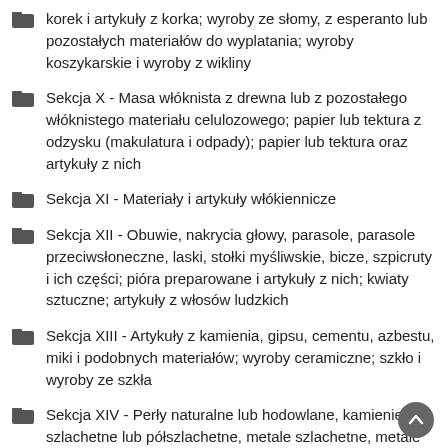korek i artykuły z korka; wyroby ze słomy, z esperanto lub pozostałych materiałów do wyplatania; wyroby koszykarskie i wyroby z wikliny
Sekcja X - Masa włóknista z drewna lub z pozostałego włóknistego materiału celulozowego; papier lub tektura z odzysku (makulatura i odpady); papier lub tektura oraz artykuły z nich
Sekcja XI - Materiały i artykuły włókiennicze
Sekcja XII - Obuwie, nakrycia głowy, parasole, parasole przeciwsłoneczne, laski, stołki myśliwskie, bicze, szpicruty i ich części; pióra preparowane i artykuły z nich; kwiaty sztuczne; artykuły z włosów ludzkich
Sekcja XIII - Artykuły z kamienia, gipsu, cementu, azbestu, miki i podobnych materiałów; wyroby ceramiczne; szkło i wyroby ze szkła
Sekcja XIV - Perły naturalne lub hodowlane, kamienie szlachetne lub półszlachetne, metale szlachetne, metale platerowane metalem szlachetnym i artykuły z nich; sztuczna biżuteria; monety
Sekcja XV - Metale nieszlachetne i artykuły z metali